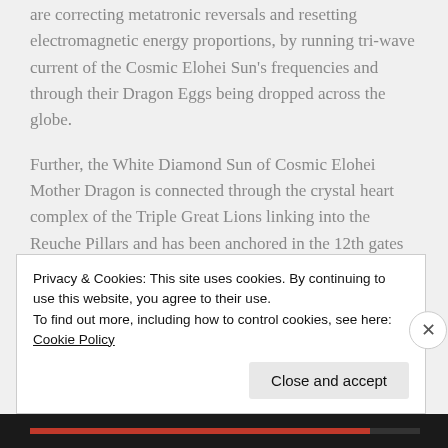are correcting metatronic reversals and resetting electromagnetic energy proportions, by running tri-wave current of the Cosmic Elohei Sun's frequencies and through their Dragon Eggs being dropped across the globe.
Further, the White Diamond Sun of Cosmic Elohei Mother Dragon is connected through the crystal heart complex of the Triple Great Lions linking into the Reuche Pillars and has been anchored in the 12th gates of Kauai and Montségur, France. While
Privacy & Cookies: This site uses cookies. By continuing to use this website, you agree to their use.
To find out more, including how to control cookies, see here: Cookie Policy